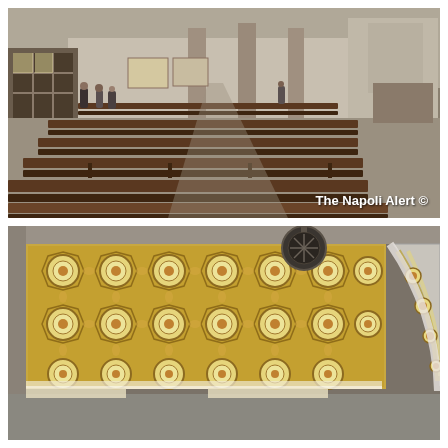[Figure (photo): Interior of a church showing rows of dark wooden pews in perspective, stone columns, visitors near the entrance door with light streaming in, and religious artwork on the walls. Watermark reads 'The Napoli Alert ©'.]
[Figure (photo): Close-up of an ornate golden and white geometric mosaic ceiling pattern with octagonal floral medallions. A circular dark lamp fixture hangs from the ceiling. A white marble arch is visible on the right side also decorated with mosaic patterns.]